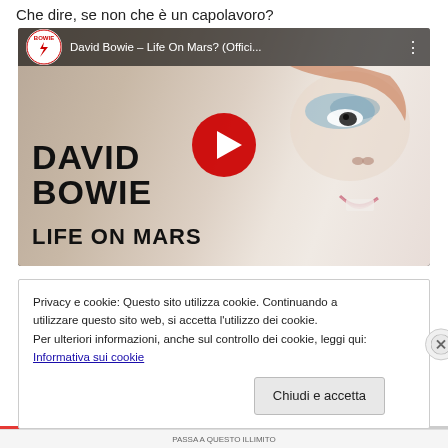Che dire, se non che è un capolavoro?
[Figure (screenshot): YouTube video thumbnail for David Bowie – Life On Mars? (Official Video), showing David Bowie text in large bold font with a face in the background and a YouTube play button overlay.]
Privacy e cookie: Questo sito utilizza cookie. Continuando a utilizzare questo sito web, si accetta l'utilizzo dei cookie.
Per ulteriori informazioni, anche sul controllo dei cookie, leggi qui:
Informativa sui cookie
Chiudi e accetta